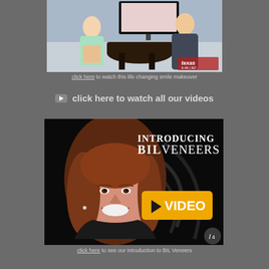[Figure (screenshot): TV show screenshot showing two people sitting at a round table in a studio, with a 'Texas' logo watermark in the bottom-right corner showing time 9:49 and 82 degrees]
click here to watch this life changing smile makeover
click here to watch all our videos
[Figure (screenshot): Dark promotional video thumbnail showing a smiling woman with auburn hair, text 'Introducing BIL Veneers' at top, and a yellow VIDEO play button on the right side]
click here to see our introduction to BIL Veneers